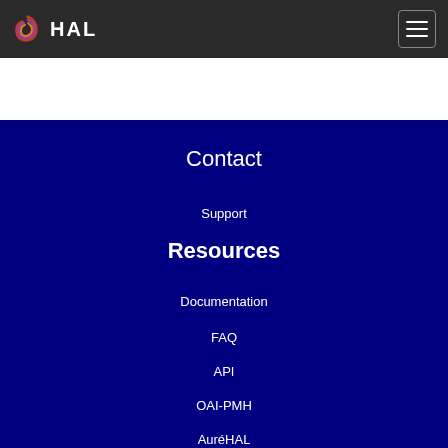[Figure (logo): HAL logo with colorful swirl icon and white HAL text on dark background header]
Contact
Support
Resources
Documentation
FAQ
API
OAI-PMH
AuréHAL